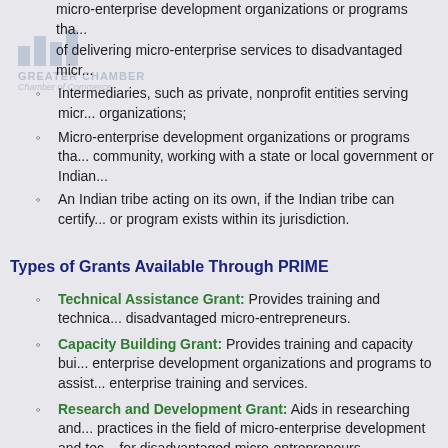[Figure (logo): Greater Chamber of Commerce watermark logo with bar chart icon]
micro-enterprise development organizations or programs that... of delivering micro-enterprise services to disadvantaged micro-entrepreneurs.
Intermediaries, such as private, nonprofit entities serving micro-enterprise organizations;
Micro-enterprise development organizations or programs that... community, working with a state or local government or Indian...
An Indian tribe acting on its own, if the Indian tribe can certify... or program exists within its jurisdiction.
Types of Grants Available Through PRIME
Technical Assistance Grant: Provides training and technical... disadvantaged micro-entrepreneurs.
Capacity Building Grant: Provides training and capacity building... enterprise development organizations and programs to assist... enterprise training and services.
Research and Development Grant: Aids in researching and... practices in the field of micro-enterprise development and tec... for disadvantaged micro-entrepreneurs.
Discretionary Grant: Conducts such other activities determin...